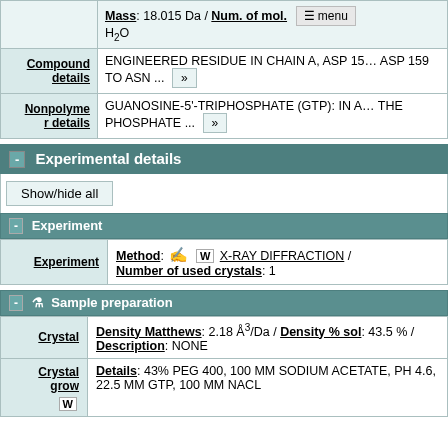| Label | Content |
| --- | --- |
| Mass / Num. of mol. | Mass: 18.015 Da / Num. of mol. ... H2O |
| Compound details | ENGINEERED RESIDUE IN CHAIN A, ASP 15... ASP 159 TO ASN ... |
| Nonpolymer details | GUANOSINE-5'-TRIPHOSPHATE (GTP): IN A... THE PHOSPHATE ... |
Experimental details
Show/hide all
Experiment
| Label | Content |
| --- | --- |
| Experiment | Method: X-RAY DIFFRACTION / Number of used crystals: 1 |
Sample preparation
| Label | Content |
| --- | --- |
| Crystal | Density Matthews: 2.18 Å³/Da / Density % sol: 43.5 % / Description: NONE |
| Crystal grow | Details: 43% PEG 400, 100 MM SODIUM ACETATE, PH 4.6, 22.5 MM GTP, 100 MM NACL |